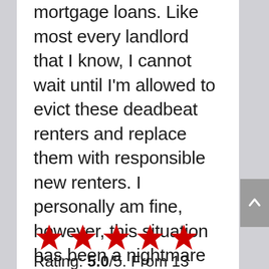mortgage loans. Like most every landlord that I know, I cannot wait until I'm allowed to evict these deadbeat renters and replace them with responsible new renters. I personally am fine, however, this situation has been a nightmare to most landlords.
[Figure (other): Five red star rating icons in a row]
Rating: 5.0/5. From 13